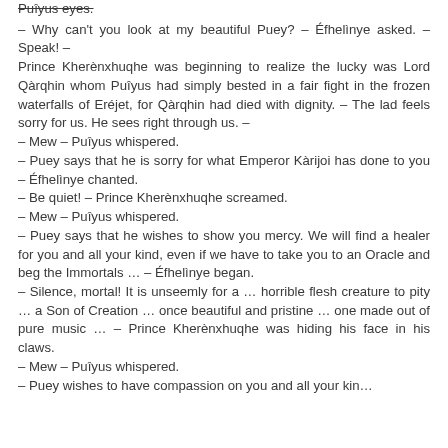Puîyus eyes.
– Why can't you look at my beautiful Puey? – Éfhelìnye asked. – Speak! –
Prince Kherènxhuqhe was beginning to realize the lucky was Lord Qàrqhin whom Puîyus had simply bested in a fair fight in the frozen waterfalls of Eréjet, for Qàrqhin had died with dignity. – The lad feels sorry for us. He sees right through us. –
– Mew – Puîyus whispered.
– Puey says that he is sorry for what Emperor Kàrijoi has done to you – Éfhelìnye chanted.
– Be quiet! – Prince Kherènxhuqhe screamed.
– Mew – Puîyus whispered.
– Puey says that he wishes to show you mercy. We will find a healer for you and all your kind, even if we have to take you to an Oracle and beg the Immortals … – Éfhelìnye began.
– Silence, mortal! It is unseemly for a … horrible flesh creature to pity … a Son of Creation … once beautiful and pristine … one made out of pure music … – Prince Kherènxhuqhe was hiding his face in his claws.
– Mew – Puîyus whispered.
– Puey wishes to have compassion on you and all your kin…